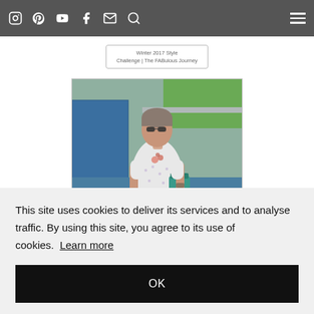Navigation bar with icons: Instagram, Pinterest, YouTube, Facebook, Email, Search, and hamburger menu
Winter 2017 Style Challenge | The FABulous Journey
[Figure (photo): A woman wearing a white floral dress and sunglasses standing outdoors near a decorative tiled wall and water feature, carrying a teal handbag]
This site uses cookies to deliver its services and to analyse traffic. By using this site, you agree to its use of cookies. Learn more
OK